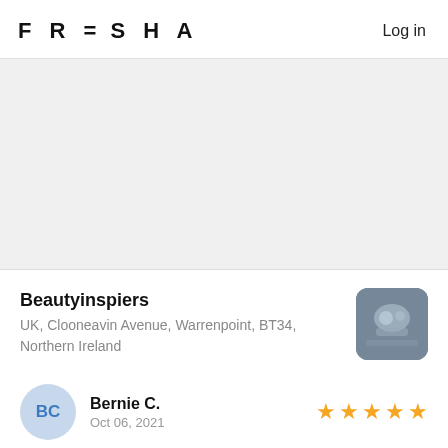FRESHA   Log in
[Figure (screenshot): Gray placeholder area representing a map or search results background]
Beautyinspiers
UK, Clooneavin Avenue, Warrenpoint, BT34, Northern Ireland
[Figure (photo): Thumbnail photo of beauty salon equipment, rounded corners]
Bernie C.
Oct 06, 2021
★★★★★ (5 stars)
Fantasticill